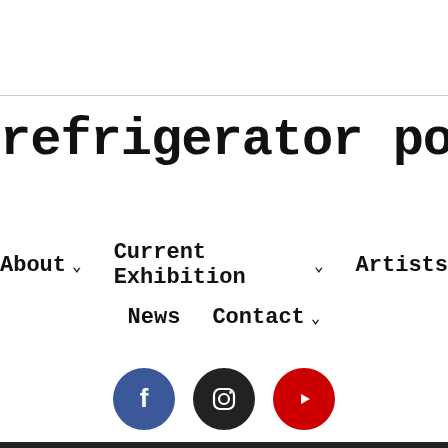refrigerator poetry
About ∨
Current Exhibition ∨
Artists
News
Contact ∨
[Figure (logo): Social media icons row: Facebook (blue circle), Instagram (dark circle), YouTube (red circle)]